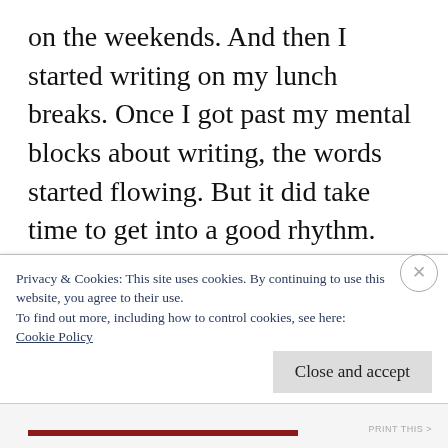on the weekends. And then I started writing on my lunch breaks. Once I got past my mental blocks about writing, the words started flowing. But it did take time to get into a good rhythm. Also, throughout the course of writing this book, I started transitioning back into freelance work (what I'd been doing before I took the office job). It was pretty hectic for a while but even on days when I didn't want to write or I felt like I was too tired or stressed, I always made myself sit down at my desk and
Privacy & Cookies: This site uses cookies. By continuing to use this website, you agree to their use.
To find out more, including how to control cookies, see here:
Cookie Policy
Close and accept